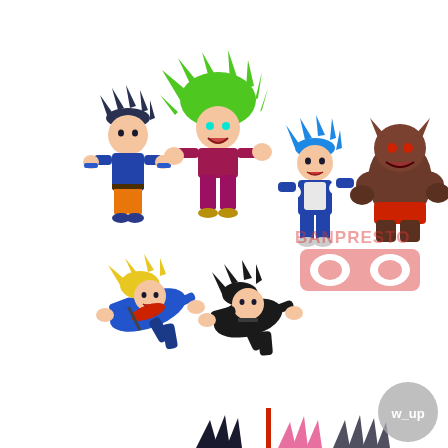[Figure (illustration): Product photo of Banpresto Dragon Ball Super World Collectable Figure set. Six chibi-style figurines arranged on white background: top row left shows Goku (blue outfit, dark spiky hair), next to Kale (green wild hair, magenta outfit), then Vegeta (blue Saiyan armor, blue spiky hair), and a large brown monster/beast figure (Jiren or similar) in red skirt. Middle row shows two flying figures: Trunks (blonde hair, blue jacket, red scarf) and Black Goku (black outfit, black hair). A pink/red Banpresto logo watermark with goggle-mask design is visible in the upper right area. Bottom of image shows partial views of additional figures' hair/heads being cut off. Bottom right corner has a grey circular 'w_up' watermark.]